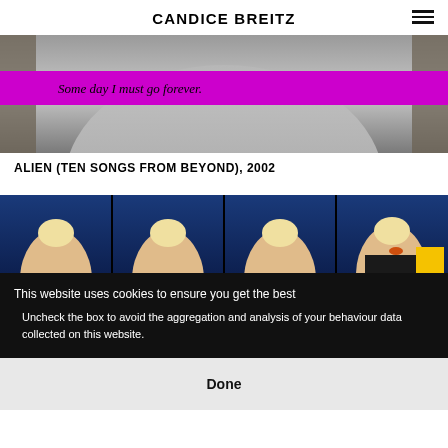CANDICE BREITZ
[Figure (photo): Close-up photo of person in grey top with a magenta/pink horizontal bar across the middle containing italic text: 'Some day I must go forever.']
ALIEN (TEN SONGS FROM BEYOND), 2002
[Figure (photo): Four panel video still strip showing a blonde woman (Annie Lennox) in four slightly different poses against a blue background, with a partial yellow rectangle visible on the far right panel.]
This website uses cookies to ensure you get the best
Uncheck the box to avoid the aggregation and analysis of your behaviour data collected on this website.
Done